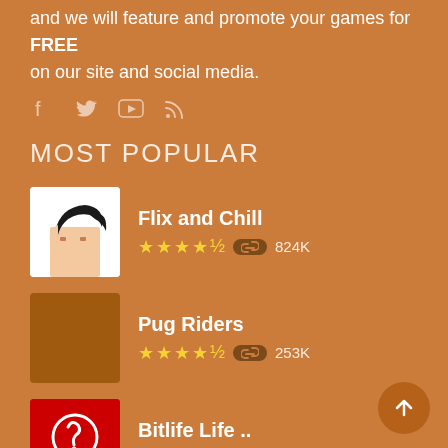and we will feature and promote your games for FREE on our site and social media.
[Figure (illustration): Social media icons: Facebook, Twitter, YouTube, RSS feed]
MOST POPULAR
Flix and Chill — 4.5 stars — 824K plays
Pug Riders — 4.5 stars — 253K plays
Bitlife Life .. — 4.5 stars — 214K plays
Mergest Kingdom — 4 stars — 116K plays